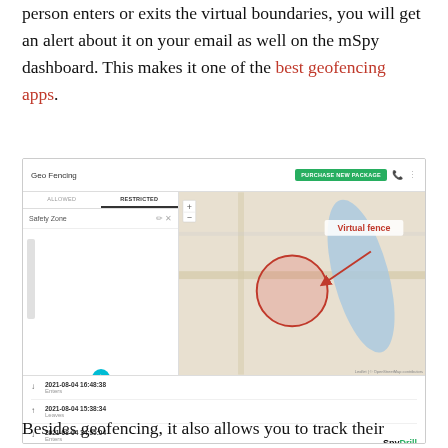person enters or exits the virtual boundaries, you will get an alert about it on your email as well on the mSpy dashboard. This makes it one of the best geofencing apps.
[Figure (screenshot): Screenshot of the mSpy Geo Fencing dashboard showing a map with a circular virtual fence drawn on it, labeled 'Virtual fence' with a red arrow. The left panel shows 'Safety Zone' under ALLOWED/RESTRICTED tabs. A log at the bottom shows timestamps with Enters/Leaves events. SpyDrill watermark visible.]
Besides geofencing, it also allows you to track their